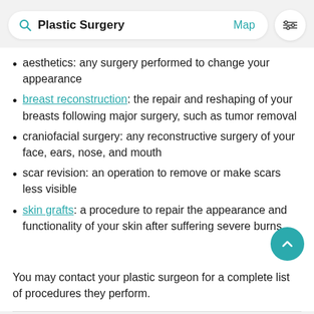Plastic Surgery | Map
aesthetics: any surgery performed to change your appearance
breast reconstruction: the repair and reshaping of your breasts following major surgery, such as tumor removal
craniofacial surgery: any reconstructive surgery of your face, ears, nose, and mouth
scar revision: an operation to remove or make scars less visible
skin grafts: a procedure to repair the appearance and functionality of your skin after suffering severe burns
You may contact your plastic surgeon for a complete list of procedures they perform.